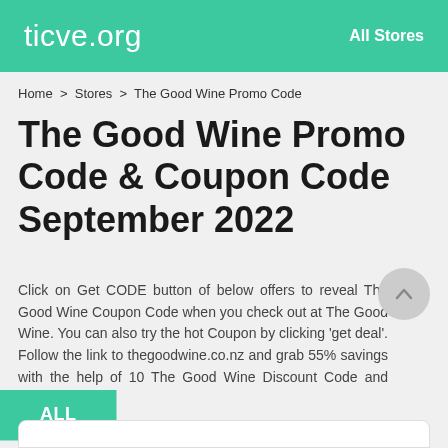ticve.org   All Stores
Home > Stores > The Good Wine Promo Code
The Good Wine Promo Code & Coupon Code September 2022
Click on Get CODE button of below offers to reveal The Good Wine Coupon Code when you check out at The Good Wine. You can also try the hot Coupon by clicking 'get deal'. Follow the link to thegoodwine.co.nz and grab 55% savings with the help of 10 The Good Wine Discount Code and Voucher Code.
ALL   DEAL